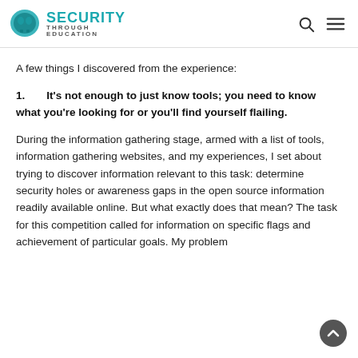SECURITY THROUGH EDUCATION
A few things I discovered from the experience:
1.    It's not enough to just know tools; you need to know what you're looking for or you'll find yourself flailing.
During the information gathering stage, armed with a list of tools, information gathering websites, and my experiences, I set about trying to discover information relevant to this task: determine security holes or awareness gaps in the open source information readily available online. But what exactly does that mean? The task for this competition called for information on specific flags and achievement of particular goals. My problem